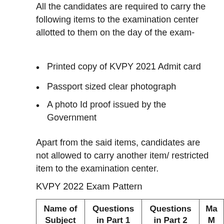All the candidates are required to carry the following items to the examination center allotted to them on the day of the exam-
Printed copy of KVPY 2021 Admit card
Passport sized clear photograph
A photo Id proof issued by the Government
Apart from the said items, candidates are not allowed to carry another item/ restricted item to the examination center.
KVPY 2022 Exam Pattern
| Name of Subject | Questions in Part 1 | Questions in Part 2 | Ma M |
| --- | --- | --- | --- |